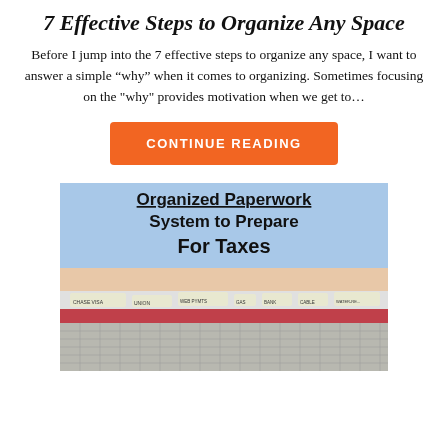7 Effective Steps to Organize Any Space
Before I jump into the 7 effective steps to organize any space, I want to answer a simple “why” when it comes to organizing. Sometimes focusing on the "why" provides motivation when we get to...
CONTINUE READING
[Figure (photo): Photo of an organized paperwork file system in a mesh basket with labeled folder tabs, with overlay text reading 'Organized Paperwork System to Prepare For Taxes']